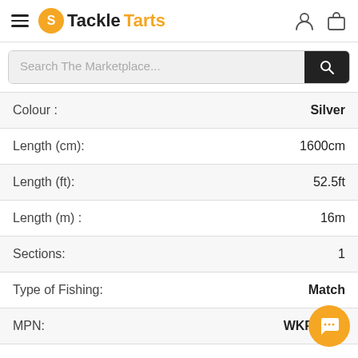TackleTarts
| Attribute | Value |
| --- | --- |
| Colour : | Silver |
| Length (cm): | 1600cm |
| Length (ft): | 52.5ft |
| Length (m) : | 16m |
| Sections: | 1 |
| Type of Fishing: | Match |
| MPN: | WKP160M |